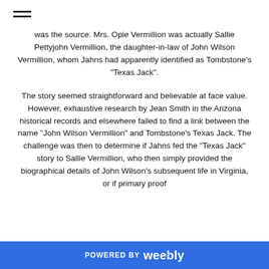was the source. Mrs. Opie Vermillion was actually Sallie Pettyjohn Vermillion, the daughter-in-law of John Wilson Vermillion, whom Jahns had apparently identified as Tombstone's "Texas Jack".
The story seemed straightforward and believable at face value. However, exhaustive research by Jean Smith in the Arizona historical records and elsewhere failed to find a link between the name "John Wilson Vermillion" and Tombstone's Texas Jack. The challenge was then to determine if Jahns fed the "Texas Jack" story to Sallie Vermillion, who then simply provided the biographical details of John Wilson's subsequent life in Virginia, or if primary proof
POWERED BY weebly